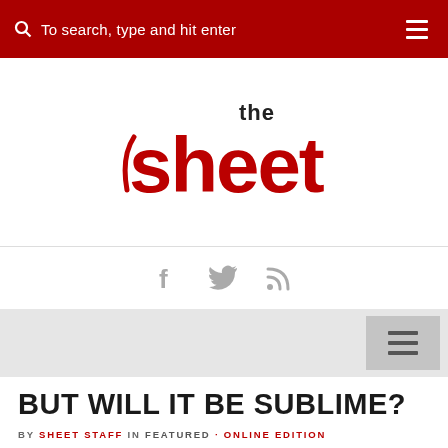To search, type and hit enter
[Figure (logo): The Sheet publication logo — 'the' in black small text above large red bold 'sheet' lettering]
[Figure (infographic): Social media icons: Facebook, Twitter, RSS feed — displayed in gray]
BUT WILL IT BE SUBLIME?
BY SHEET STAFF IN FEATURED · ONLINE EDITION
19 JUN, 2022